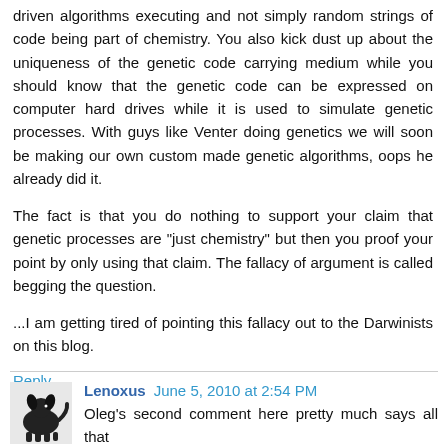driven algorithms executing and not simply random strings of code being part of chemistry. You also kick dust up about the uniqueness of the genetic code carrying medium while you should know that the genetic code can be expressed on computer hard drives while it is used to simulate genetic processes. With guys like Venter doing genetics we will soon be making our own custom made genetic algorithms, oops he already did it.
The fact is that you do nothing to support your claim that genetic processes are "just chemistry" but then you proof your point by only using that claim. The fallacy of argument is called begging the question.
...I am getting tired of pointing this fallacy out to the Darwinists on this blog.
Reply
Lenoxus June 5, 2010 at 2:54 PM
Oleg's second comment here pretty much says all that